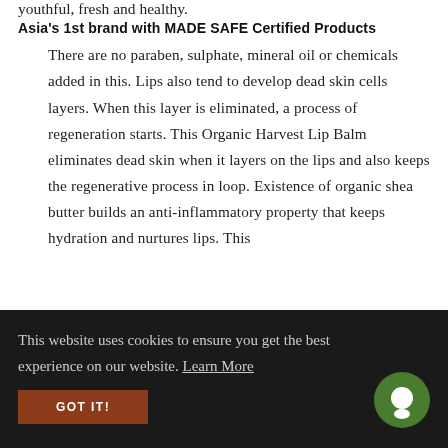youthful, fresh and healthy.
Asia's 1st brand with MADE SAFE Certified Products
There are no paraben, sulphate, mineral oil or chemicals added in this. Lips also tend to develop dead skin cells layers. When this layer is eliminated, a process of regeneration starts. This Organic Harvest Lip Balm eliminates dead skin when it layers on the lips and also keeps the regenerative process in loop. Existence of organic shea butter builds an anti-inflammatory property that keeps hydration and nurtures lips. This
This website uses cookies to ensure you get the best experience on our website. Learn More
GOT IT!